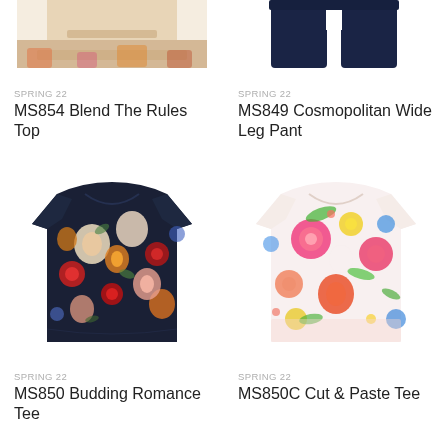[Figure (photo): Partial crop of MS854 Blend The Rules Top - colorful patterned top, top portion visible]
SPRING 22
MS854 Blend The Rules Top
[Figure (photo): Partial crop of MS849 Cosmopolitan Wide Leg Pant - navy wide leg pants, top portion visible]
SPRING 22
MS849 Cosmopolitan Wide Leg Pant
[Figure (photo): MS850 Budding Romance Tee - dark navy floral print tee with colorful flowers]
SPRING 22
MS850 Budding Romance Tee
[Figure (photo): MS850C Cut & Paste Tee - bright multicolor floral print tee on white/pink background]
SPRING 22
MS850C Cut & Paste Tee